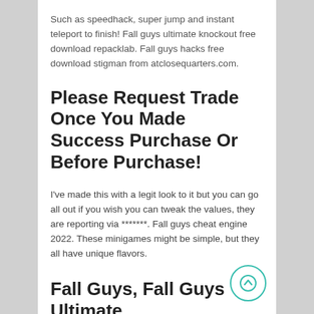Such as speedhack, super jump and instant teleport to finish! Fall guys ultimate knockout free download repacklab. Fall guys hacks free download stigman from atclosequarters.com.
Please Request Trade Once You Made Success Purchase Or Before Purchase!
I've made this with a legit look to it but you can go all out if you wish you can tweak the values, they are reporting via *******. Fall guys cheat engine 2022. These minigames might be simple, but they all have unique flavors.
Fall Guys, Fall Guys Ultimate Knockout, Fall Guys Hack